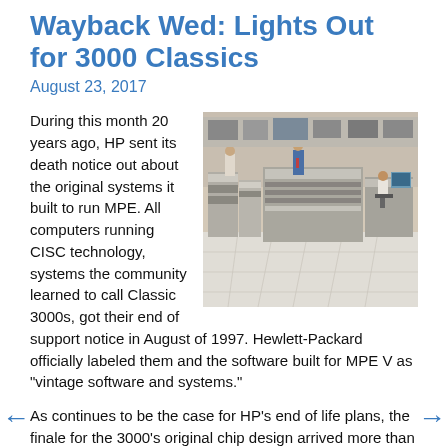Wayback Wed: Lights Out for 3000 Classics
August 23, 2017
[Figure (photo): Three men in a server room with large HP 3000 Classic mainframe computer systems, tiled floor, circa late 1980s or early 1990s.]
During this month 20 years ago, HP sent its death notice out about the original systems it built to run MPE. All computers running CISC technology, systems the community learned to call Classic 3000s, got their end of support notice in August of 1997. Hewlett-Packard officially labeled them and the software built for MPE V as "vintage software and systems."
As continues to be the case for HP's end of life plans, the finale for the 3000's original chip design arrived more than a few years beyond the EOL of September